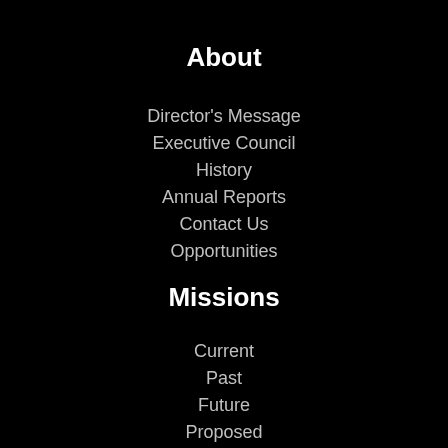About
Director's Message
Executive Council
History
Annual Reports
Contact Us
Opportunities
Missions
Current
Past
Future
Proposed
All
Galleries
JPL Space Images
Infographics
Photojournal
NASA Images